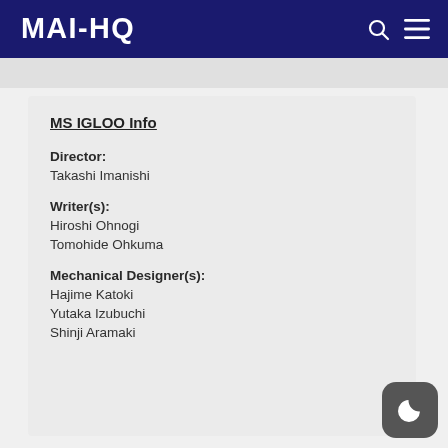MAHQ
MS IGLOO Info
Director:
Takashi Imanishi
Writer(s):
Hiroshi Ohnogi
Tomohide Ohkuma
Mechanical Designer(s):
Hajime Katoki
Yutaka Izubuchi
Shinji Aramaki